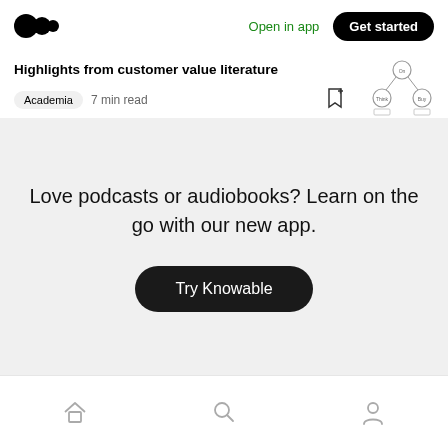Open in app | Get started
Highlights from customer value literature
Academia  7 min read
Love podcasts or audiobooks? Learn on the go with our new app.
Try Knowable
Home | Search | Profile